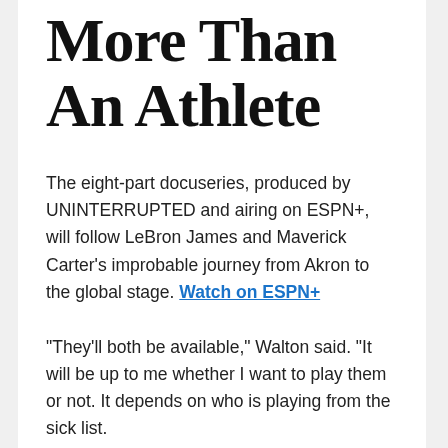More Than An Athlete
The eight-part docuseries, produced by UNINTERRUPTED and airing on ESPN+, will follow LeBron James and Maverick Carter's improbable journey from Akron to the global stage. Watch on ESPN+
"They'll both be available," Walton said. "It will be up to me whether I want to play them or not. It depends on who is playing from the sick list.
"I would expect some of these guys to fight